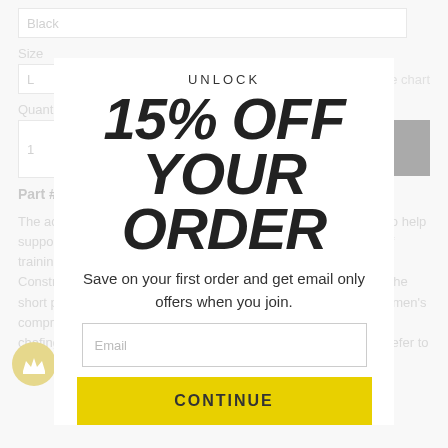Black
Size
L
Size chart
Quantity
1
ADD TO CART
Part #WC316
The active hi rise compression short features a patented design to help support the quads, hamstrings, and hips. It is great for all types of training and competition. Constructed with DFND's moisture-wicking breathable Ax fabric, the short provides maximum muscle containment and comfort. All women's compression shorts are constructed with flatlock seams to reduce chafing and a comfortable waistband for extended wear. Please refer to the size chart for the correct size.
UNLOCK
15% OFF YOUR ORDER
Save on your first order and get email only offers when you join.
Email
CONTINUE